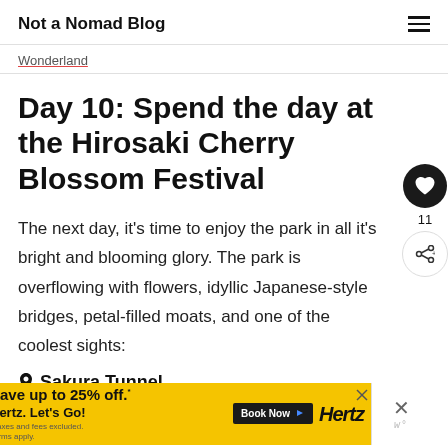Not a Nomad Blog
Wonderland
Day 10: Spend the day at the Hirosaki Cherry Blossom Festival
The next day, it's time to enjoy the park in all it's bright and blooming glory. The park is overflowing with flowers, idyllic Japanese-style bridges, petal-filled moats, and one of the coolest sights:
📍 Sakura Tunnel .
[Figure (other): Advertisement banner: Hertz car rental. Yellow background. Text: Save up to 25% off. Hertz. Let's Go! Book Now button. Hertz logo on right. Close button on far right.]